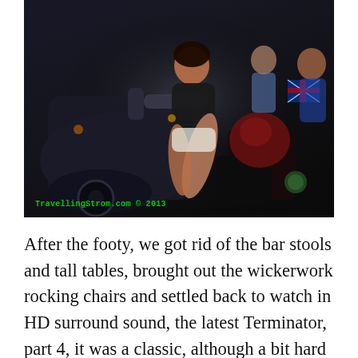[Figure (photo): A woman in a black top and white shorts sits on a large loaded touring motorcycle at night. Luggage and bags are strapped to the rear. An Australian flag is visible on the right side of the bike. People are visible in the background. A green watermark reads 'TravellingStrom.com © 2013' in the lower left corner.]
After the footy, we got rid of the bar stools and tall tables, brought out the wickerwork rocking chairs and settled back to watch in HD surround sound, the latest Terminator, part 4, it was a classic, although a bit hard to follow to start with due to alcohol, but it all worked out in the end, but another